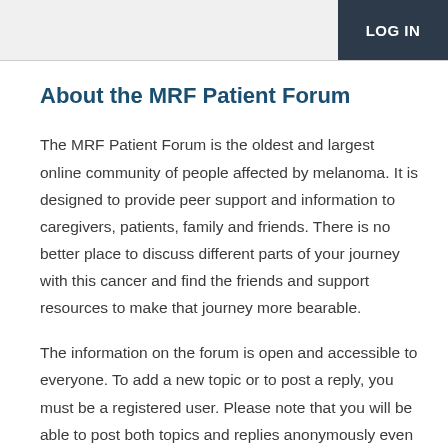LOG IN
About the MRF Patient Forum
The MRF Patient Forum is the oldest and largest online community of people affected by melanoma. It is designed to provide peer support and information to caregivers, patients, family and friends. There is no better place to discuss different parts of your journey with this cancer and find the friends and support resources to make that journey more bearable.
The information on the forum is open and accessible to everyone. To add a new topic or to post a reply, you must be a registered user. Please note that you will be able to post both topics and replies anonymously even